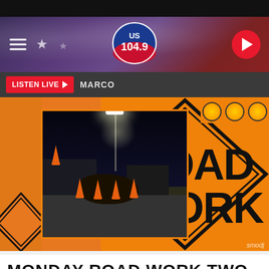[Figure (screenshot): US 104.9 radio station mobile app screenshot showing header banner with logo, listen live button with MARCO text, and a road work construction zone image composite with night road photo and orange ROAD WORK sign]
MONDAY ROAD WORK TWO